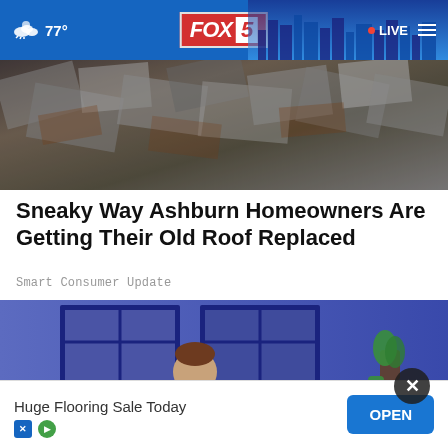77° FOX 5 LIVE
[Figure (photo): Broken and damaged roof tiles/shingles pile]
Sneaky Way Ashburn Homeowners Are Getting Their Old Roof Replaced
Smart Consumer Update
[Figure (illustration): Illustrated man lying in bed reading, with clock showing 01:37 on nightstand]
Huge Flooring Sale Today OPEN